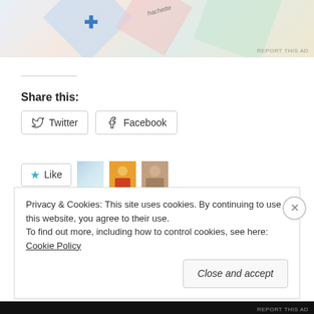[Figure (photo): Advertisement banner with colorful overlapping diamond/card shapes in pastel colors including blue, pink, and green, with a medical cross symbol and Hachette-style branding visible]
REPORT THIS AD
Share this:
Twitter  Facebook
Like  [3 blogger avatars]
3 bloggers like this.
Related
2020 Halloween Flash Fiction event (& Contests!) with Tigris
2020 Annual Halloween Flash Fiction Blog Event Kickoff
Privacy & Cookies: This site uses cookies. By continuing to use this website, you agree to their use.
To find out more, including how to control cookies, see here: Cookie Policy
Close and accept